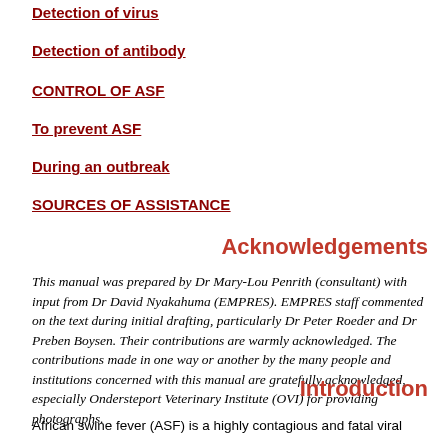Detection of virus
Detection of antibody
CONTROL OF ASF
To prevent ASF
During an outbreak
SOURCES OF ASSISTANCE
Acknowledgements
This manual was prepared by Dr Mary-Lou Penrith (consultant) with input from Dr David Nyakahuma (EMPRES). EMPRES staff commented on the text during initial drafting, particularly Dr Peter Roeder and Dr Preben Boysen. Their contributions are warmly acknowledged. The contributions made in one way or another by the many people and institutions concerned with this manual are gratefully acknowledged, especially Ondersteport Veterinary Institute (OVI) for providing photographs.
Introduction
African swine fever (ASF) is a highly contagious and fatal viral